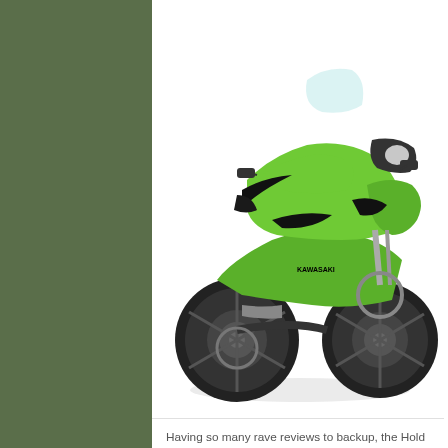[Figure (photo): A bright green Kawasaki ZX-10R sport motorcycle photographed from the left side against a white background. The motorcycle features aggressive bodywork in lime green and black.]
Having so many rave reviews to backup, the Hold Off did come as a shock to many. To add spice to the recipe, Kawasaki was tight lipped at the actual technical snag in the engine which was the root cause of the hold off. Existing owners of the bike were being asked to bring their units back to the dealer and they would be served on a priority basis once the technical snag was rectified. It was all haze until yesterday when Kawasaki made a